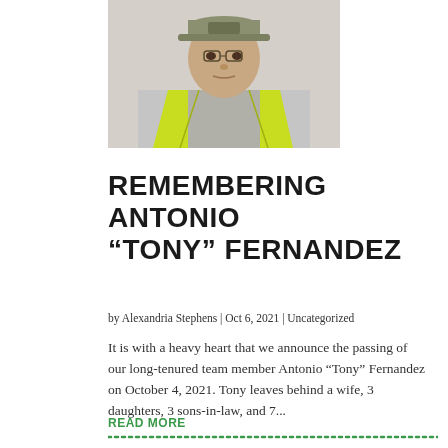[Figure (photo): A man wearing a yellow-green safety vest and a green cap, photographed against a light background. He appears to be a middle-aged Latino man.]
REMEMBERING ANTONIO "TONY" FERNANDEZ
by Alexandria Stephens | Oct 6, 2021 | Uncategorized
It is with a heavy heart that we announce the passing of our long-tenured team member Antonio "Tony" Fernandez on October 4, 2021. Tony leaves behind a wife, 3 daughters, 3 sons-in-law, and 7...
READ MORE